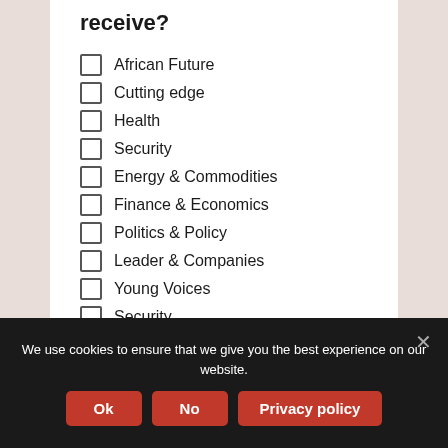receive?
African Future
Cutting edge
Health
Security
Energy & Commodities
Finance & Economics
Politics & Policy
Leader & Companies
Young Voices
Security
Subscribe
We use cookies to ensure that we give you the best experience on our website.
Ok   No   Privacy policy